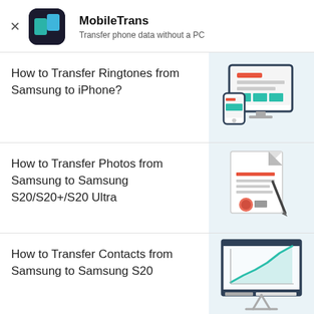MobileTrans – Transfer phone data without a PC
How to Transfer Ringtones from Samsung to iPhone?
[Figure (illustration): Illustration of a desktop monitor and a smartphone showing a data transfer UI with teal and orange colored blocks]
How to Transfer Photos from Samsung to Samsung S20/S20+/S20 Ultra
[Figure (illustration): Illustration of a document/certificate with orange lines, a pen, and a red wax seal]
How to Transfer Contacts from Samsung to Samsung S20
[Figure (illustration): Illustration of a presentation board/whiteboard showing a line chart with teal rising line and axes]